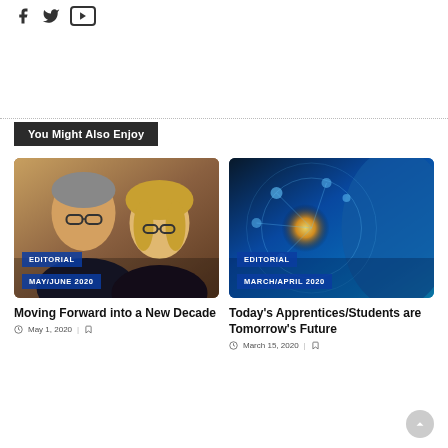[Figure (other): Social media icons: Facebook, Twitter, YouTube]
You Might Also Enjoy
[Figure (photo): Photo of two people (a man and a woman with glasses) with overlaid badges: EDITORIAL and MAY/JUNE 2020]
Moving Forward into a New Decade
May 1, 2020
[Figure (photo): Technology/digital image showing glowing light and digital icons on blue background with overlaid badges: EDITORIAL and MARCH/APRIL 2020]
Today's Apprentices/Students are Tomorrow's Future
March 15, 2020